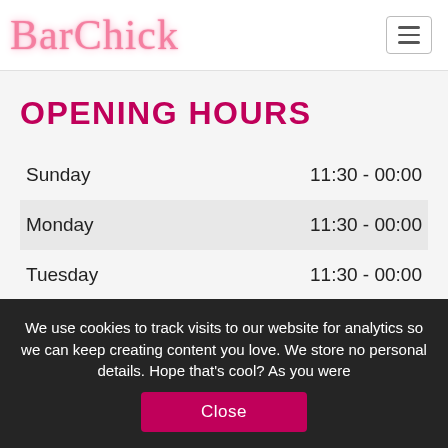BarChick
OPENING HOURS
| Day | Hours |
| --- | --- |
| Sunday | 11:30 - 00:00 |
| Monday | 11:30 - 00:00 |
| Tuesday | 11:30 - 00:00 |
We use cookies to track visits to our website for analytics so we can keep creating content you love. We store no personal details. Hope that’s cool? As you were Close